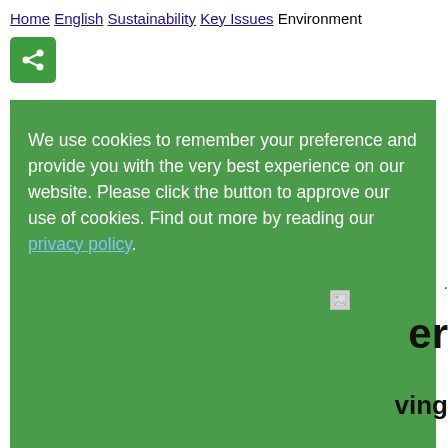Home / English / Sustainability / Key Issues / Environment
[Figure (other): Green share button icon with a network/share symbol in white]
[Figure (screenshot): Green cookie consent overlay banner with text: We use cookies to remember your preference and provide you with the very best experience on our website. Please click the button to approve our use of cookies. Find out more by reading our privacy policy. A broken image placeholder is visible at bottom-right of the overlay. Partial text 'er' and 'ving' visible at right edge outside overlay.]